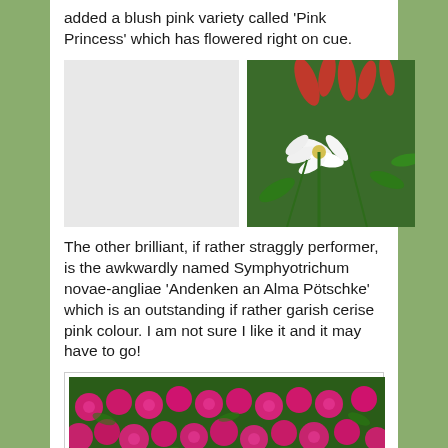added a blush pink variety called 'Pink Princess' which has flowered right on cue.
[Figure (photo): Left: light grey placeholder image. Right: photograph of white and red flowers with green stems.]
The other brilliant, if rather straggly performer, is the awkwardly named Symphyotrichum novae-angliae 'Andenken an Alma Pötschke' which is an outstanding if rather garish cerise pink colour. I am not sure I like it and it may have to go!
[Figure (photo): Photograph of dense bright cerise-pink aster flowers (Symphyotrichum novae-angliae 'Andenken an Alma Pötschke') with green foliage.]